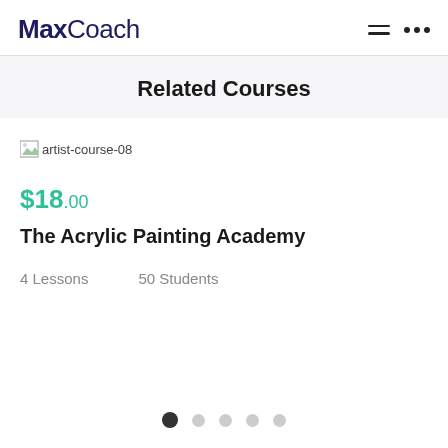MaxCoach
Related Courses
[Figure (illustration): Broken image placeholder labeled 'artist-course-08']
$18.00
The Acrylic Painting Academy
4 Lessons   50 Students